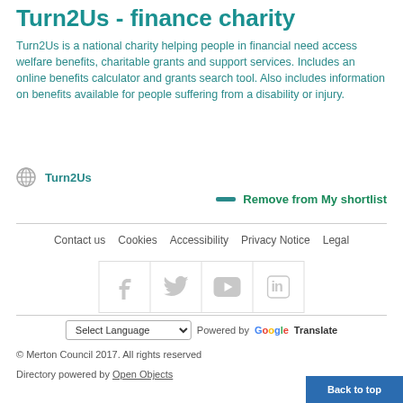Turn2Us - finance charity
Turn2Us is a national charity helping people in financial need access welfare benefits, charitable grants and support services.  Includes an online benefits calculator and grants search tool. Also includes information on benefits available for people suffering from a disability or injury.
Turn2Us
Remove from My shortlist
Contact us   Cookies   Accessibility   Privacy Notice   Legal
[Figure (other): Social media icons row: Facebook, Twitter, YouTube, LinkedIn]
Select Language  Powered by Google Translate
© Merton Council 2017. All rights reserved
Directory powered by Open Objects
Back to top